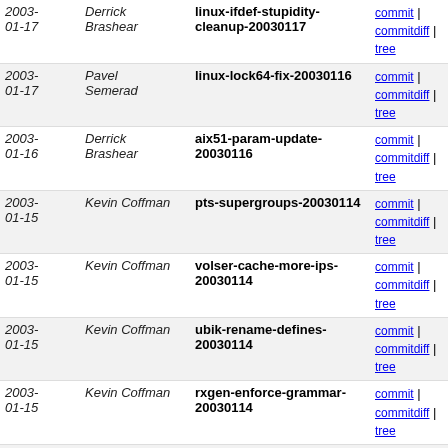| Date | Author | Commit | Links |
| --- | --- | --- | --- |
| 2003-01-17 | Derrick Brashear | linux-ifdef-stupidity-cleanup-20030117 | commit | commitdiff | tree |
| 2003-01-17 | Pavel Semerad | linux-lock64-fix-20030116 | commit | commitdiff | tree |
| 2003-01-16 | Derrick Brashear | aix51-param-update-20030116 | commit | commitdiff | tree |
| 2003-01-15 | Kevin Coffman | pts-supergroups-20030114 | commit | commitdiff | tree |
| 2003-01-15 | Kevin Coffman | volser-cache-more-ips-20030114 | commit | commitdiff | tree |
| 2003-01-15 | Kevin Coffman | ubik-rename-defines-20030114 | commit | commitdiff | tree |
| 2003-01-15 | Kevin Coffman | rxgen-enforce-grammar-20030114 | commit | commitdiff | tree |
| 2003-01-15 | Kevin Coffman | buserver-ubik-buffers-20030114 | commit | commitdiff | tree |
| 2003-01-15 | Nickolai Zeldovich | callbacks-later-linked-list-fix-20030114 | commit | commitdiff | tree |
| 2003-01-15 | Derrick Brashear | viced-alloc-hosts-held-and-locked-20030114 | commit | commitdiff | tree |
| 2003-01-15 | Derrick Brashear | viced-junk-unused-functions-20030114 | commit | commitdiff | tree |
| 2003-01-13 | Nathan Neulinger | makefile-dependancies-20030113 | commit | commitdiff | tree |
| 2003-01-12 | Nathan Neulinger | salvager-fast-restart-log-to-syslog-also-20030111 | commit | commitdiff | tree |
| 2003- | Nathan | qmake-i-support-20030111 | commit |